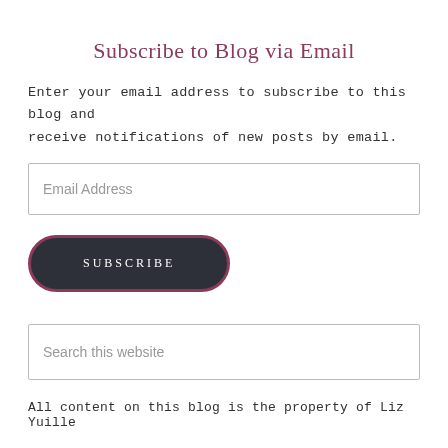Subscribe to Blog via Email
Enter your email address to subscribe to this blog and receive notifications of new posts by email.
Email Address
SUBSCRIBE
Search this website
All content on this blog is the property of Liz Yuille